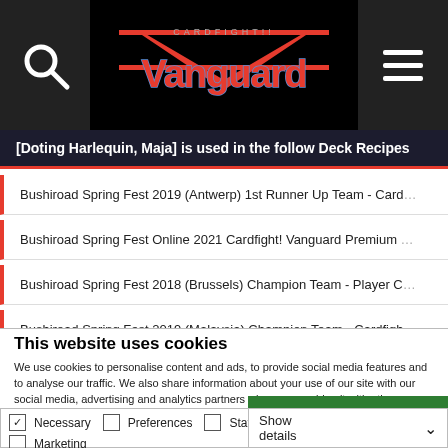[Figure (logo): Cardfight!! Vanguard logo on black navigation bar with search icon and hamburger menu]
[Doting Harlequin, Maja] is used in the follow Deck Recipes
Bushiroad Spring Fest 2019 (Antwerp) 1st Runner Up Team - Card...
Bushiroad Spring Fest Online 2021 Cardfight! Vanguard Premium ...
Bushiroad Spring Fest 2018 (Brussels) Champion Team - Player C...
Bushiroad Spring Fest 2019 (Malaysia) Champion Team - Cardfigh...
This website uses cookies
We use cookies to personalise content and ads, to provide social media features and to analyse our traffic. We also share information about your use of our site with our social media, advertising and analytics partners who may combine it with other information that you've provided to them or that they've collected from your use of their services. You consent to our cookies if you continue to use our website.
OK
Necessary  Preferences  Statistics  Marketing  Show details